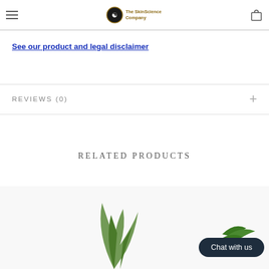The SkinScience Company — navigation header with hamburger menu, logo, and cart icon
See our product and legal disclaimer
REVIEWS (0)
RELATED PRODUCTS
[Figure (photo): Product photo showing aloe vera and green plant leaves on white background]
Chat with us